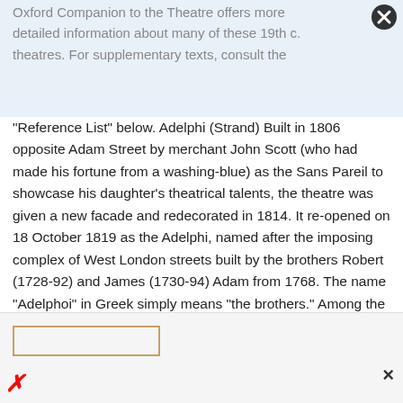Oxford Companion to the Theatre offers more detailed information about many of these 19th c. theatres. For supplementary texts, consult the "Reference List" below. Adelphi (Strand) Built in 1806 opposite Adam Street by merchant John Scott (who had made his fortune from a washing-blue) as the Sans Pareil to showcase his daughter's theatrical talents, the theatre was given a new facade and redecorated in 1814. It re-opened on 18 October 1819 as the Adelphi, named after the imposing complex of West London streets built by the brothers Robert (1728-92) and James (1730-94) Adam from 1768. The name "Adelphoi" in Greek simply means "the brothers." Among the celebrated actors who appeared on its......
Words: 6703 - Pages: 27